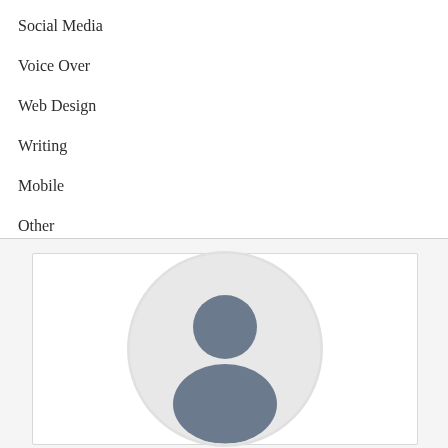Social Media
Voice Over
Web Design
Writing
Mobile
Other
[Figure (illustration): Default user profile avatar placeholder image showing a generic silhouette of a person (head and shoulders) in slate blue/grey color on a light grey circular background, within a white card with border.]